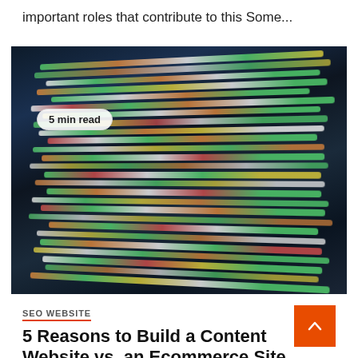important roles that contribute to this Some…
[Figure (photo): Close-up blurred photo of colorful code on a dark screen/monitor, showing multiple lines of syntax-highlighted programming code in green, orange, yellow, white, and red colors on a dark background. A badge reads '5 min read'.]
5 min read
SEO WEBSITE
5 Reasons to Build a Content Website vs. an Ecommerce Site